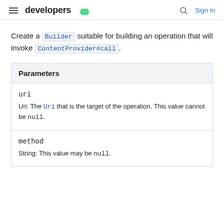developers [android logo] | Search | Sign in
Create a Builder suitable for building an operation that will invoke ContentProvider#call.
| Parameters |
| --- |
| uri | Uri: The Uri that is the target of the operation. This value cannot be null. |
| method | String: This value may be null. |